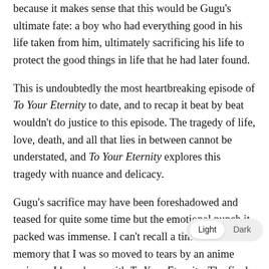because it makes sense that this would be Gugu's ultimate fate: a boy who had everything good in his life taken from him, ultimately sacrificing his life to protect the good things in life that he had later found.
This is undoubtedly the most heartbreaking episode of To Your Eternity to date, and to recap it beat by beat wouldn't do justice to this episode. The tragedy of life, love, death, and all that lies in between cannot be understated, and To Your Eternity explores this tragedy with nuance and delicacy.
Gugu's sacrifice may have been foreshadowed and teased for quite some time but the emotional punch it packed was immense. I can't recall a time in recent memory that I was so moved to tears by an anime series as I have been with To Your Eternity. The final scene with Rean w... Gugu, only to acknowledge he is no longer with them and,